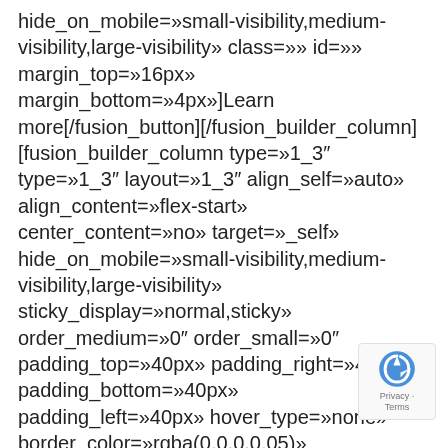hide_on_mobile=»small-visibility,medium-visibility,large-visibility» class=»» id=»» margin_top=»16px» margin_bottom=»4px»]Learn more[/fusion_button][/fusion_builder_column] [fusion_builder_column type=»1_3″ type=»1_3″ layout=»1_3″ align_self=»auto» align_content=»flex-start» center_content=»no» target=»_self» hide_on_mobile=»small-visibility,medium-visibility,large-visibility» sticky_display=»normal,sticky» order_medium=»0″ order_small=»0″ padding_top=»40px» padding_right=»40px» padding_bottom=»40px» padding_left=»40px» hover_type=»none» border_color=»rgba(0,0,0,0.05)» border_style=»solid» box_shadow=»yes» box_shadow_blur=»32″ box_shadow_spread=» box_shadow_color=»rgba(0,0,0,0.1)» background_type=»single»